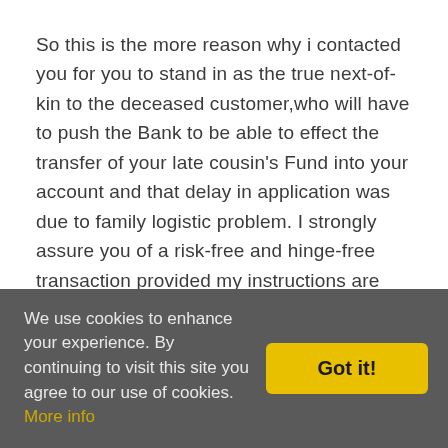So this is the more reason why i contacted you for you to stand in as the true next-of-kin to the deceased customer,who will have to push the Bank to be able to effect the transfer of your late cousin's Fund into your account and that delay in application was due to family logistic problem. I strongly assure you of a risk-free and hinge-free transaction provided my instructions are strictly adhered to by you.
Also i would not fail to let you know that we are going to work together in actualising this objective as you have to be aware that there are going to be some miscellaneous expenses such as transfer charges and telephone bills etc,which is normal in International
We use cookies to enhance your experience. By continuing to visit this site you agree to our use of cookies. More info